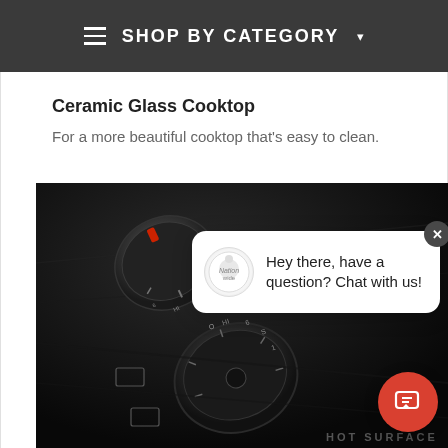≡ SHOP BY CATEGORY ▾
Ceramic Glass Cooktop
For a more beautiful cooktop that's easy to clean.
[Figure (photo): Close-up photo of a black ceramic glass cooktop showing knob controls with red indicators and 'HOT SURFACE' text, photographed at an angle on a dark background. A chat widget overlay is visible with avatar, text 'Hey there, have a question? Chat with us!', close button, and a red circular chat button.]